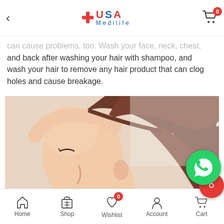USA Medilife — navigation header with back arrow and cart (0 items)
can cause problems, too. Wash your face, neck, chest, and back after washing your hair with shampoo, and wash your hair to remove any hair product that can clog holes and cause breakage.
[Figure (photo): Side profile of a woman with brown hair pulled back, hand behind head, skin care / hair care context]
Home | Shop | Wishlist (0) | Account | Cart